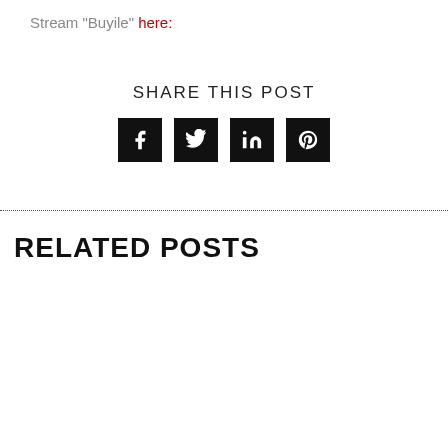Stream "Buyile" here:
SHARE THIS POST
[Figure (infographic): Four social media share buttons: Facebook, Twitter, LinkedIn, Pinterest — black square icons with white logos]
RELATED POSTS